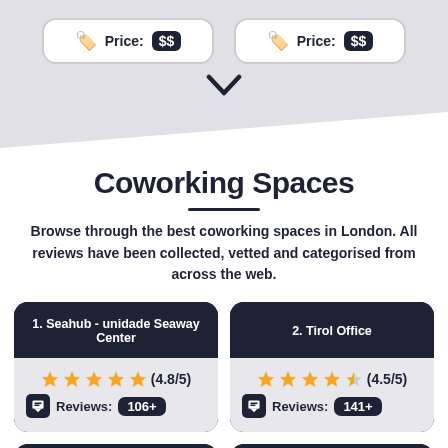[Figure (infographic): Two price cards showing Price: $$ with tag icons on a grey diagonal background, with a chevron arrow below]
Coworking Spaces
Browse through the best coworking spaces in London. All reviews have been collected, vetted and categorised from across the web.
1. Seahub - unidade Seaway Center — ★★★★★ (4.8/5) Reviews: 106+
2. Tirol Office — ★★★★½ (4.5/5) Reviews: 141+
3. Christmas Virtual Office (partial)
4. Shake Natal Fones... (partial)